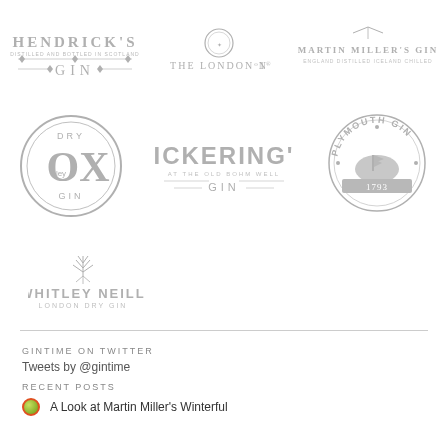[Figure (logo): Hendrick's Gin logo - distilled and bottled in Scotland]
[Figure (logo): The London No 1 gin logo with circular badge]
[Figure (logo): Martin Miller's Gin - England distilled Iceland chilled]
[Figure (logo): Dry Ox Ley Gin circular badge logo]
[Figure (logo): Pickering's Gin logo]
[Figure (logo): Plymouth Gin 1793 circular badge logo]
[Figure (logo): Whitley Neill London Dry Gin logo with plant emblem]
GINTIME ON TWITTER
Tweets by @gintime
RECENT POSTS
A Look at Martin Miller's Winterful